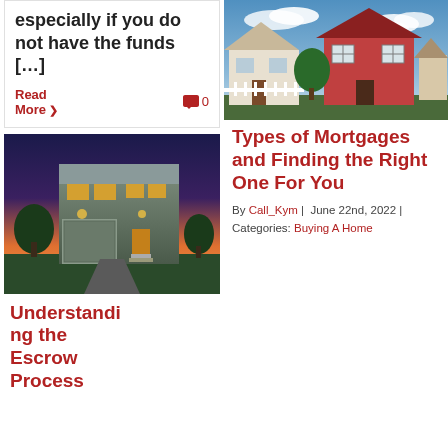especially if you do not have the funds […]
Read More  🗨 0
[Figure (photo): Modern two-story house exterior photographed at dusk with warm interior lighting, colorful sunset sky in background]
Understanding the Escrow Process
[Figure (photo): Row of suburban houses including a prominent red/pink house, photographed under a blue sky with clouds]
Types of Mortgages and Finding the Right One For You
By Call_Kym | June 22nd, 2022 | Categories: Buying A Home